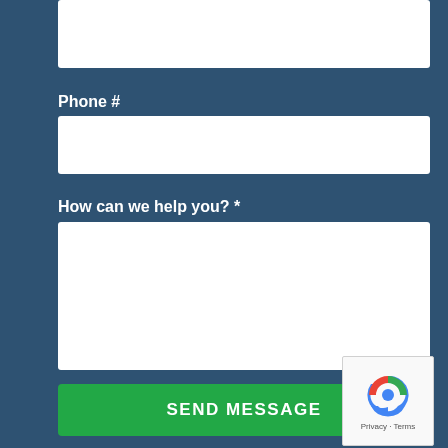[Figure (screenshot): White text input field (top, partially visible)]
Phone #
[Figure (screenshot): White text input field for phone number]
How can we help you? *
[Figure (screenshot): White textarea for message input with resize handle]
SEND MESSAGE
[Figure (logo): reCAPTCHA widget with Privacy and Terms links]